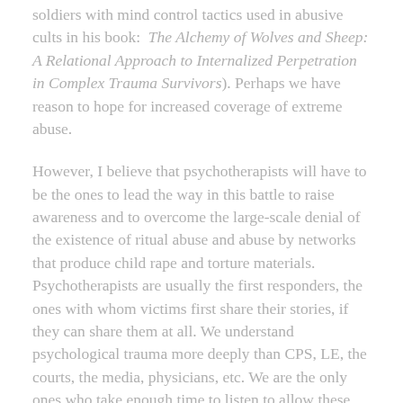soldiers with mind control tactics used in abusive cults in his book: The Alchemy of Wolves and Sheep: A Relational Approach to Internalized Perpetration in Complex Trauma Survivors). Perhaps we have reason to hope for increased coverage of extreme abuse.
However, I believe that psychotherapists will have to be the ones to lead the way in this battle to raise awareness and to overcome the large-scale denial of the existence of ritual abuse and abuse by networks that produce child rape and torture materials. Psychotherapists are usually the first responders, the ones with whom victims first share their stories, if they can share them at all. We understand psychological trauma more deeply than CPS, LE, the courts, the media, physicians, etc. We are the only ones who take enough time to listen to allow these stories to unfold. We grasp that extreme abuse will always be at least partly dissociated. Dissociation of memories too painful and frightening to face is at the very core of